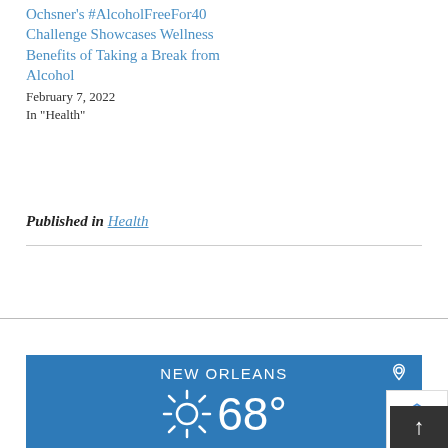Ochsner's #AlcoholFreeFor40 Challenge Showcases Wellness Benefits of Taking a Break from Alcohol
February 7, 2022
In "Health"
Published in Health
[Figure (screenshot): Weather widget showing NEW ORLEANS with sunny icon and 68 degrees temperature on a blue background]